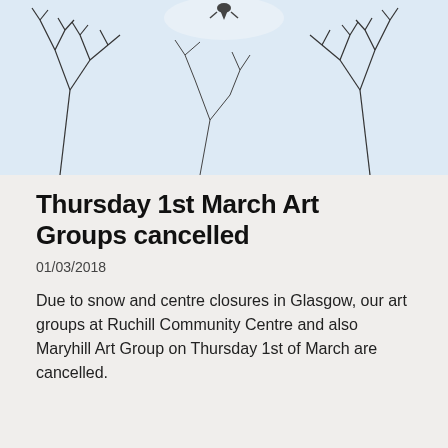[Figure (photo): Winter scene with snow-covered branches and blue-white sky, with a bird visible at top]
Thursday 1st March Art Groups cancelled
01/03/2018
Due to snow and centre closures in Glasgow, our art groups at Ruchill Community Centre and also Maryhill Art Group on Thursday 1st of March are cancelled.
Privacy & Cookies: This site uses cookies. By continuing to use this website, you agree to their use.
To find out more, including how to control cookies, see here:
Cookie Policy
Close and accept